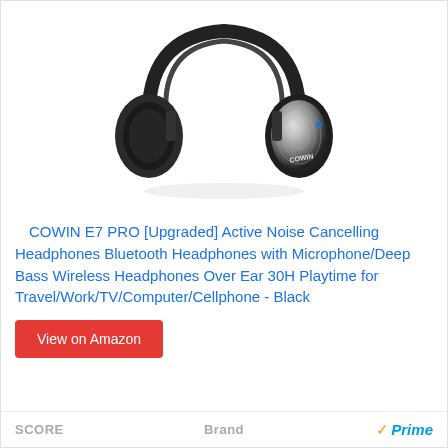[Figure (photo): Product photo of COWIN E7 PRO black over-ear headphones with silver metallic ear cup detail, shown from the front on a white background.]
COWIN E7 PRO [Upgraded] Active Noise Cancelling Headphones Bluetooth Headphones with Microphone/Deep Bass Wireless Headphones Over Ear 30H Playtime for Travel/Work/TV/Computer/Cellphone - Black
View on Amazon
SCORE    Brand    Prime